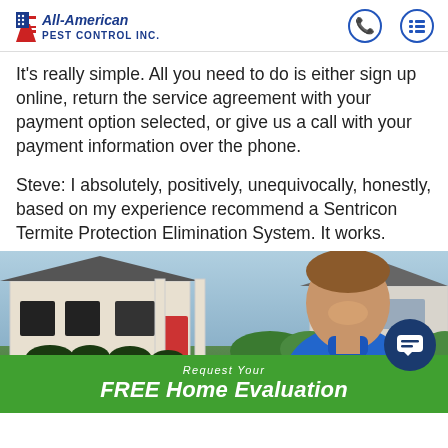All-American Pest Control Inc.
It's really simple. All you need to do is either sign up online, return the service agreement with your payment option selected, or give us a call with your payment information over the phone.
Steve: I absolutely, positively, unequivocally, honestly, based on my experience recommend a Sentricon Termite Protection Elimination System. It works.
[Figure (photo): Man in blue polo shirt smiling in front of a house exterior, with a green CTA bar at the bottom reading 'Request Your FREE Home Evaluation']
Request Your FREE Home Evaluation